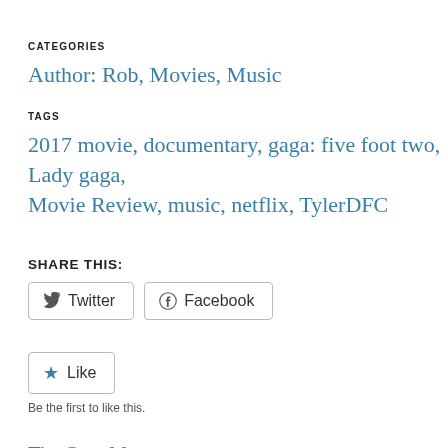CATEGORIES
Author: Rob, Movies, Music
TAGS
2017 movie, documentary, gaga: five foot two, Lady gaga, Movie Review, music, netflix, TylerDFC
SHARE THIS:
Twitter  Facebook
Like
Be the first to like this.
The Gray Man